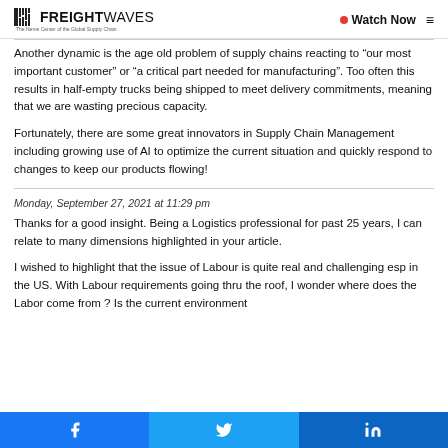FREIGHTWAVES — The Nerve Center of the Global Supply Chain | Watch Now
Another dynamic is the age old problem of supply chains reacting to “our most important customer” or “a critical part needed for manufacturing”. Too often this results in half-empty trucks being shipped to meet delivery commitments, meaning that we are wasting precious capacity.
Fortunately, there are some great innovators in Supply Chain Management including growing use of AI to optimize the current situation and quickly respond to changes to keep our products flowing!
Monday, September 27, 2021 at 11:29 pm
Thanks for a good insight. Being a Logistics professional for past 25 years, I can relate to many dimensions highlighted in your article.
I wished to highlight that the issue of Labour is quite real and challenging esp in the US. With Labour requirements going thru the roof, I wonder where does the Labor come from ? Is the current environment